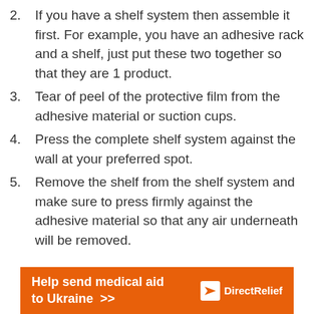2. If you have a shelf system then assemble it first. For example, you have an adhesive rack and a shelf, just put these two together so that they are 1 product.
3. Tear of peel of the protective film from the adhesive material or suction cups.
4. Press the complete shelf system against the wall at your preferred spot.
5. Remove the shelf from the shelf system and make sure to press firmly against the adhesive material so that any air underneath will be removed.
[Figure (infographic): Orange advertisement banner reading 'Help send medical aid to Ukraine >>' with Direct Relief logo on the right.]